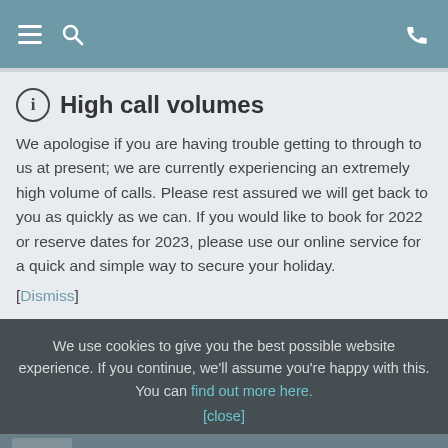Navigation bar with menu, search, and phone icons
High call volumes
We apologise if you are having trouble getting to through to us at present; we are currently experiencing an extremely high volume of calls. Please rest assured we will get back to you as quickly as we can. If you would like to book for 2022 or reserve dates for 2023, please use our online service for a quick and simple way to secure your holiday.
[Dismiss]
We use cookies to give you the best possible website experience. If you continue, we'll assume you're happy with this. You can find out more here. [close]